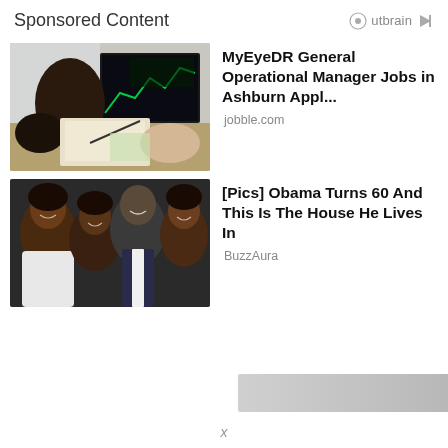Sponsored Content
[Figure (photo): People working at a desk with computers and stock charts on monitor]
MyEyeDR General Operational Manager Jobs in Ashburn Appl...
jobble.com
[Figure (photo): Family portrait of four people smiling, including Barack Obama]
[Pics] Obama Turns 60 And This Is The House He Lives In
BuzzAura